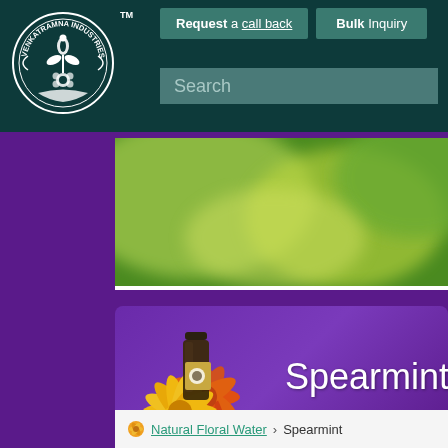[Figure (logo): Venkatramna Industries circular logo with ornate botanical design in white on dark teal background, with TM mark]
Request a call back
Bulk Inquiry
Search
[Figure (photo): Blurred green herb/plant background image used as hero banner]
[Figure (photo): Small dark glass bottle with Venkatramna label surrounded by orange and yellow marigold flowers]
Spearmint
Natural Floral Water > Spearmint